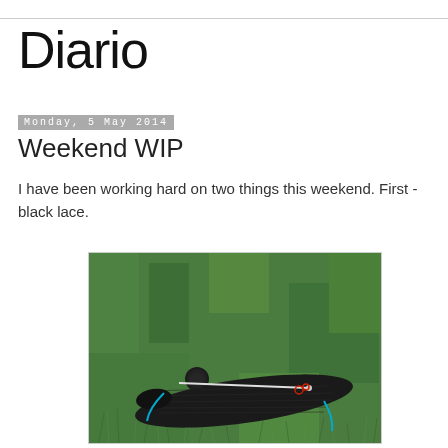Diario
Monday, 5 May 2014
Weekend WIP
I have been working hard on two things this weekend. First - black lace.
[Figure (photo): A black knitted lace piece laid out on green grass, with a small ball of black yarn and knitting needles visible. A blue yarn marker hangs off the edge.]